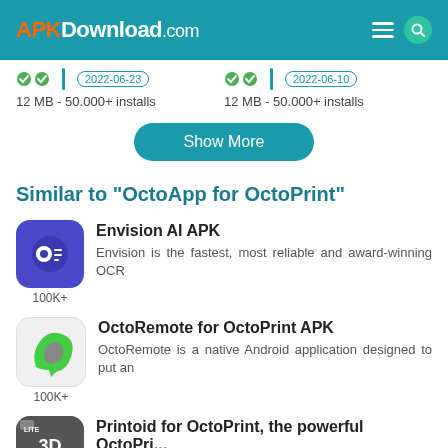APKDownload.com
12 MB - 50.000+ installs   12 MB - 50.000+ installs
Show More
Similar to "OctoApp for OctoPrint"
Envision AI APK
Envision is the fastest, most reliable and award-winning OCR
100K+
OctoRemote for OctoPrint APK
OctoRemote is a native Android application designed to put an
100K+
Printoid for OctoPrint, the powerful OctoPri...
Printoid is the smartest interface for Octoprint servers. Controlling